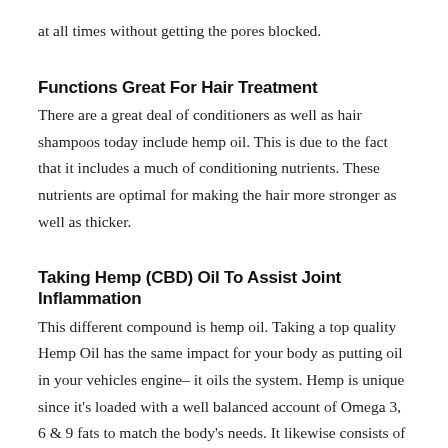at all times without getting the pores blocked.
Functions Great For Hair Treatment
There are a great deal of conditioners as well as hair shampoos today include hemp oil. This is due to the fact that it includes a much of conditioning nutrients. These nutrients are optimal for making the hair more stronger as well as thicker.
Taking Hemp (CBD) Oil To Assist Joint Inflammation
This different compound is hemp oil. Taking a top quality Hemp Oil has the same impact for your body as putting oil in your vehicles engine– it oils the system. Hemp is unique since it's loaded with a well balanced account of Omega 3, 6 & 9 fats to match the body's needs. It likewise consists of GLA (Gamma-Linolenic Acid) and it aids to